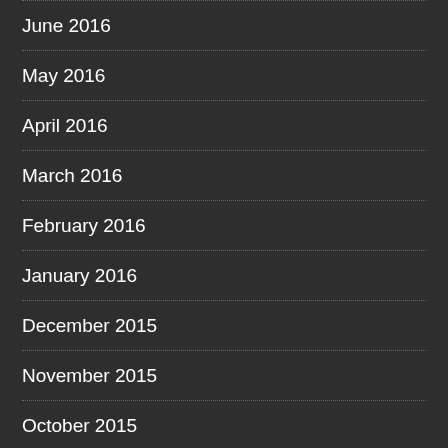June 2016
May 2016
April 2016
March 2016
February 2016
January 2016
December 2015
November 2015
October 2015
ABOUT US
Disclosure Policy
Sitemap
CATEGORIES